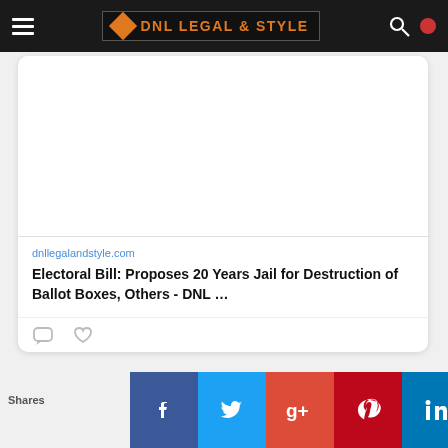DNL LEGAL & STYLE
[Figure (screenshot): Embedded link card showing a blank white image area above with the URL dnllegalandstyle.com and the article title: Electoral Bill: Proposes 20 Years Jail for Destruction of Ballot Boxes, Others - DNL ...]
dnllegalandstyle.com
Electoral Bill: Proposes 20 Years Jail for Destruction of Ballot Boxes, Others - DNL ...
Shares
[Figure (infographic): Social share buttons row: Facebook (blue), Twitter (light blue), Google+ (red), Pinterest (dark red), LinkedIn (blue), WhatsApp (green), Crown/other (dark blue)]